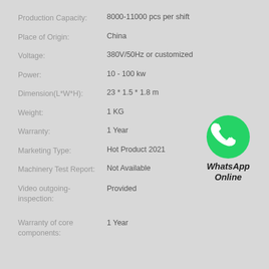| Attribute | Value |
| --- | --- |
| Production Capacity: | 8000-11000 pcs per shift |
| Place of Origin: | China |
| Voltage: | 380V/50Hz or customized |
| Power: | 10 - 100 kw |
| Dimension(L*W*H): | 23 * 1.5 * 1.8 m |
| Weight: | 1 KG |
| Warranty: | 1 Year |
| Marketing Type: | Hot Product 2021 |
| Machinery Test Report: | Not Available |
| Video outgoing-inspection: | Provided |
| Warranty of core components: | 1 Year |
[Figure (logo): WhatsApp green circle logo with phone handset icon, labeled 'WhatsApp Online' in bold italic black text below]